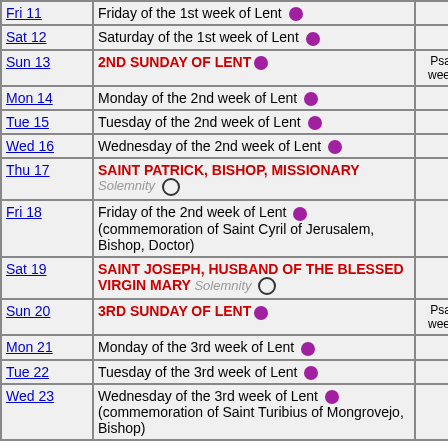| Date | Description | Psalm |
| --- | --- | --- |
| Fri 11 | Friday of the 1st week of Lent ● |  |
| Sat 12 | Saturday of the 1st week of Lent ● |  |
| Sun 13 | 2ND SUNDAY OF LENT ● | Psalm week 2 |
| Mon 14 | Monday of the 2nd week of Lent ● |  |
| Tue 15 | Tuesday of the 2nd week of Lent ● |  |
| Wed 16 | Wednesday of the 2nd week of Lent ● |  |
| Thu 17 | SAINT PATRICK, BISHOP, MISSIONARY Solemnity ○ |  |
| Fri 18 | Friday of the 2nd week of Lent ● (commemoration of Saint Cyril of Jerusalem, Bishop, Doctor) |  |
| Sat 19 | SAINT JOSEPH, HUSBAND OF THE BLESSED VIRGIN MARY Solemnity ○ |  |
| Sun 20 | 3RD SUNDAY OF LENT ● | Psalm week 3 |
| Mon 21 | Monday of the 3rd week of Lent ● |  |
| Tue 22 | Tuesday of the 3rd week of Lent ● |  |
| Wed 23 | Wednesday of the 3rd week of Lent ● (commemoration of Saint Turibius of Mongrovejo, Bishop) |  |